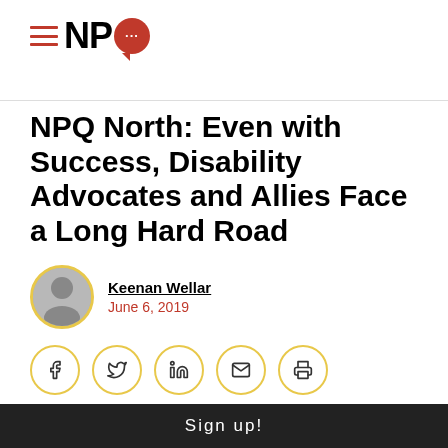NPQ
NPQ North: Even with Success, Disability Advocates and Allies Face a Long Hard Road
Keenan Wellar
June 6, 2019
[Figure (illustration): Social share buttons: Facebook, Twitter, LinkedIn, Email, Print — circular buttons with gold/yellow outline]
[Figure (photo): Partial photo of a person in a wheelchair on a brick surface]
Sign up!